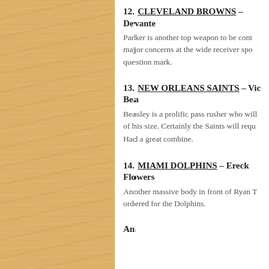[Figure (photo): Wood grain texture panel on the left side of the page, light oak/maple color]
12. CLEVELAND BROWNS – Devante Parker is another top weapon to be cont... major concerns at the wide receiver spo... question mark.
13. NEW ORLEANS SAINTS – Vic Bea... Beasley is a prolific pass rusher who will... of his size. Certainly the Saints will requ... Had a great combine.
14. MIAMI DOLPHINS – Ereck Flowers... Another massive body in front of Ryan T... ordered for the Dolphins.
Privacy & Cookies: This site uses cookies. By continuing to use this website, you agree to their use. To find out more, including how to control cookies, see here: Cookie Policy
Close and accept